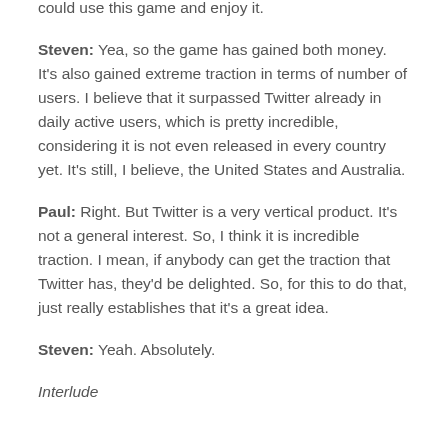could use this game and enjoy it.
Steven: Yea, so the game has gained both money. It’s also gained extreme traction in terms of number of users. I believe that it surpassed Twitter already in daily active users, which is pretty incredible, considering it is not even released in every country yet. It’s still, I believe, the United States and Australia.
Paul: Right. But Twitter is a very vertical product. It’s not a general interest. So, I think it is incredible traction. I mean, if anybody can get the traction that Twitter has, they’d be delighted. So, for this to do that, just really establishes that it’s a great idea.
Steven: Yeah. Absolutely.
Interlude